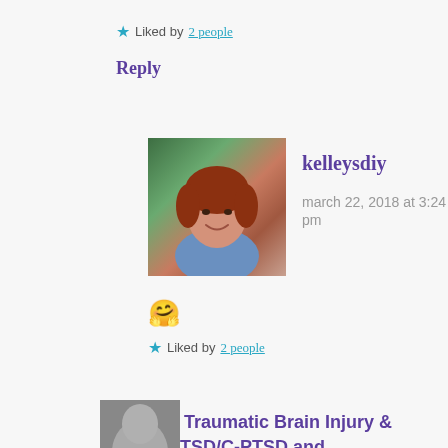★ Liked by 2 people
Reply
[Figure (photo): Profile photo of kelleysdiy — woman with red/auburn hair, blue patterned top, smiling]
kelleysdiy
march 22, 2018 at 3:24 pm
🤗
★ Liked by 2 people
Pingback: Traumatic Brain Injury & PTSD – PTSD/C-PTSD and Management with Growth
[Figure (photo): Partial profile photo visible at bottom of page]